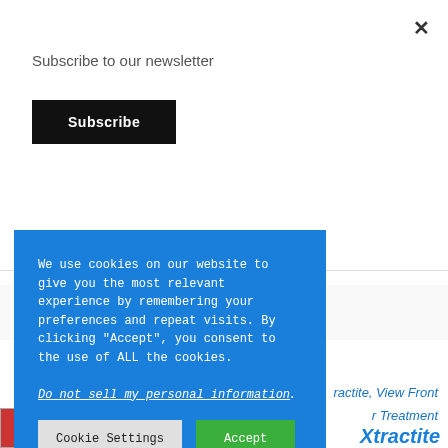Subscribe to our newsletter
Subscribe
×
Filter By:
We use cookies on our website to give you the most relevant experience by remembering your preferences and repeat visits. By clicking "Accept", you consent to the use of ALL the cookies.
Do not sell my personal information.
Cookie Settings
Accept
ractite, View Front
r Treatment
Xtractite